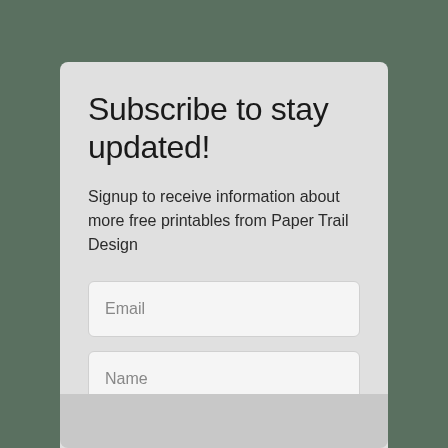Subscribe to stay updated!
Signup to receive information about more free printables from Paper Trail Design
Email
Name
Last name
You can unsubscribe anytime. For more details, review our Privacy Policy.